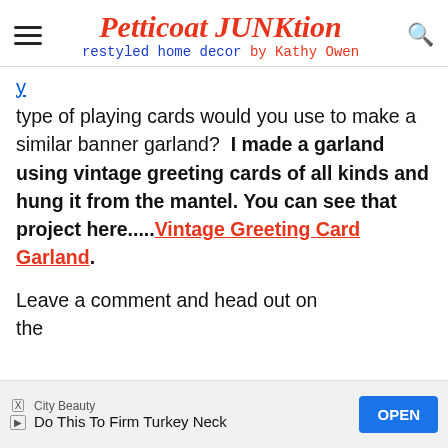Petticoat JUNKtion — restyled home decor by Kathy Owen
type of playing cards would you use to make a similar banner garland?  I made a garland using vintage greeting cards of all kinds and hung it from the mantel. You can see that project here.....Vintage Greeting Card Garland.
Leave a comment and head out on the
[Figure (other): Advertisement banner: City Beauty — Do This To Firm Turkey Neck, with OPEN button]